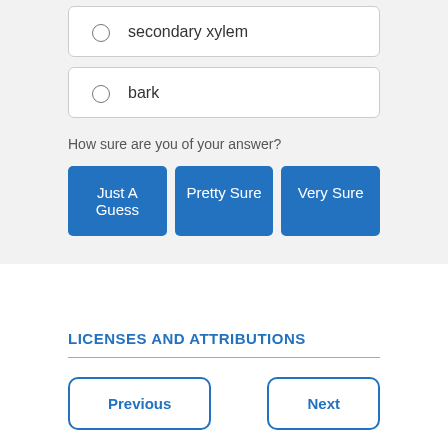secondary xylem
bark
How sure are you of your answer?
Just A Guess
Pretty Sure
Very Sure
LICENSES AND ATTRIBUTIONS
Previous
Next